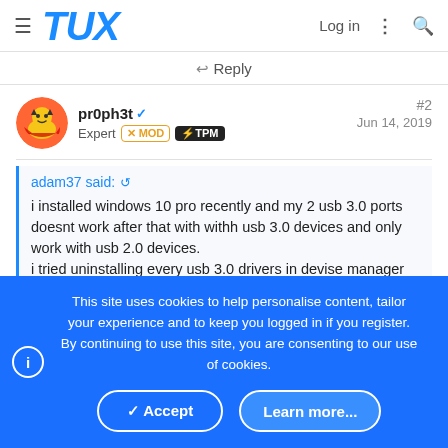TUX  Log in
↩ Reply
pr0ph3t ✔ Expert MOD TPM  #2  Jun 14, 2019
adam37 said: i installed windows 10 pro recently and my 2 usb 3.0 ports doesnt work after that with withh usb 3.0 devices and only work with usb 2.0 devices.
i tried uninstalling every usb 3.0 drivers in devise manager and reinstalling them and still not working.
This site uses cookies to help personalise content, tailor your experience and to keep you logged in if you register.
By continuing to use this site, you are consenting to our use of cookies.